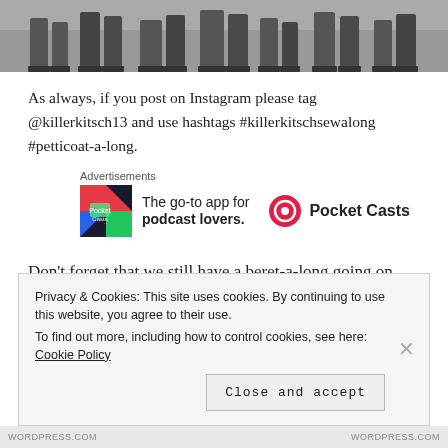[Figure (photo): Black and white photo showing the lower legs and feet of several people standing together, cropped at the top of the page.]
As always, if you post on Instagram please tag @killerkitsch13 and use hashtags #killerkitschsewalong #petticoat-a-long.
[Figure (other): Advertisement: Pocket Casts — The go-to app for podcast lovers.]
Don't forget that we still have a beret-a-long going on until December 31st and an ongoing Accessory-a-long until
Privacy & Cookies: This site uses cookies. By continuing to use this website, you agree to their use.
To find out more, including how to control cookies, see here: Cookie Policy
Close and accept